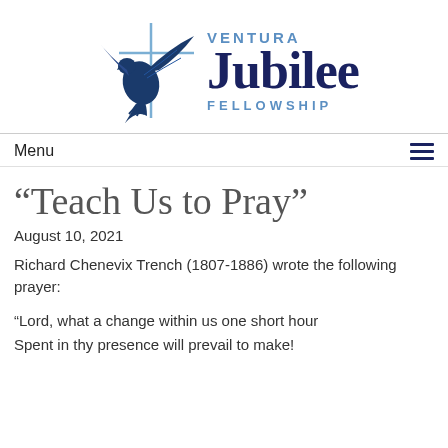[Figure (logo): Ventura Jubilee Fellowship logo with eagle/cross graphic and stylized text]
Menu ≡
“Teach Us to Pray”
August 10, 2021
Richard Chenevix Trench (1807-1886) wrote the following prayer:
“Lord, what a change within us one short hour
Spent in thy presence will prevail to make!